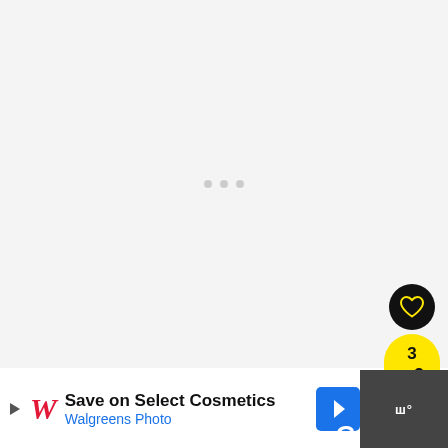[Figure (screenshot): Large white/light grey loading area with three small grey dots in the center, representing a loading spinner or placeholder image area]
[Figure (screenshot): Black circular like/heart button on right side]
[Figure (screenshot): Yellow floating action panel showing count '3' and a share icon]
[Figure (screenshot): Yellow 'WHAT'S NEXT' banner with thumbnail and text '4 Ways to See if Someone...']
[Figure (screenshot): Advertisement bar at bottom: Walgreens Photo ad 'Save on Select Cosmetics' with blue nav arrow and dark right panel with skip icon. Partial bold text 'T' and 'G' visible at very bottom edges.]